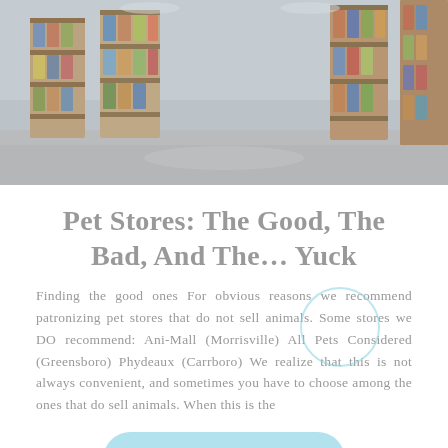[Figure (photo): Interior of a pet store showing aisles with shelves stocked with pet food and product boxes, photographed with a wide-angle view showing the store floor and lighting]
Pet Stores: The Good, The Bad, And The… Yuck
Finding the good ones For obvious reasons we recommend patronizing pet stores that do not sell animals. Some stores we DO recommend: Ani-Mall (Morrisville) All Pets Considered (Greensboro) Phydeaux (Carrboro) We realize that this is not always convenient, and sometimes you have to choose among the ones that do sell animals. When this is the